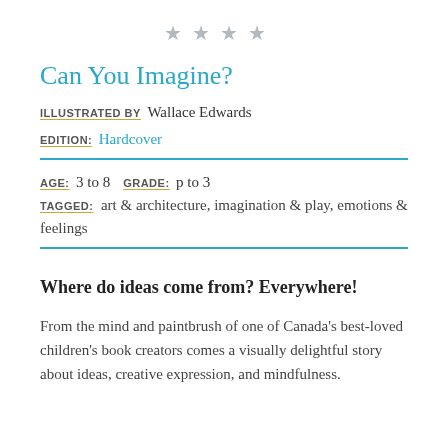[Figure (other): Four grey star rating icons in a row]
Can You Imagine?
ILLUSTRATED BY  Wallace Edwards
EDITION:  Hardcover
AGE:  3 to 8   GRADE:  p to 3
TAGGED:  art & architecture, imagination & play, emotions & feelings
Where do ideas come from? Everywhere!
From the mind and paintbrush of one of Canada's best-loved children's book creators comes a visually delightful story about ideas, creative expression, and mindfulness.